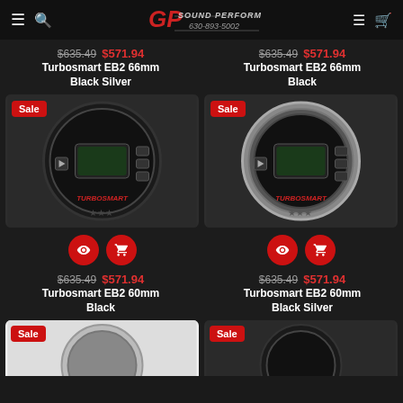[Figure (screenshot): GP Sound Performance website header with logo and navigation icons]
$635.49 $571.94 Turbosmart EB2 66mm Black Silver
$635.49 $571.94 Turbosmart EB2 66mm Black
[Figure (photo): Turbosmart EB2 60mm Black boost controller gauge with Sale badge]
[Figure (photo): Turbosmart EB2 60mm Black Silver boost controller gauge with Sale badge]
$635.49 $571.94 Turbosmart EB2 60mm Black
$635.49 $571.94 Turbosmart EB2 60mm Black Silver
[Figure (photo): Turbosmart product partial image with Sale badge (bottom left)]
[Figure (photo): Turbosmart product partial image with Sale badge (bottom right)]